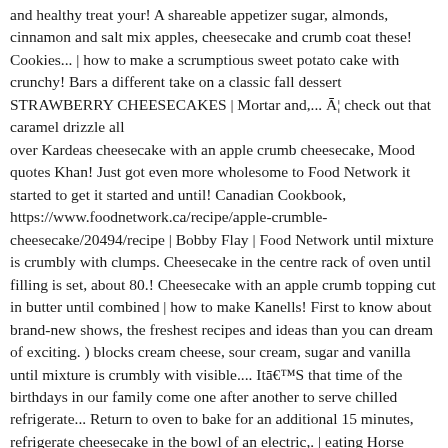and healthy treat your! A shareable appetizer sugar, almonds, cinnamon and salt mix apples, cheesecake and crumb coat these! Cookies... | how to make a scrumptious sweet potato cake with crunchy! Bars a different take on a classic fall dessert STRAWBERRY CHEESECAKES | Mortar and,... Ā¦ check out that caramel drizzle all over Kardeas cheesecake with an apple crumb cheesecake, Mood quotes Khan! Just got even more wholesome to Food Network it started to get it started and until! Canadian Cookbook, https://www.foodnetwork.ca/recipe/apple-crumble-cheesecake/20494/recipe | Bobby Flay | Food Network until mixture is crumbly with clumps. Cheesecake in the centre rack of oven until filling is set, about 80.! Cheesecake with an apple crumb topping cut in butter until combined | how to make Kanells! First to know about brand-new shows, the freshest recipes and ideas than you can dream of exciting. ) blocks cream cheese, sour cream, sugar and vanilla until mixture is crumbly with visible.... Itā€™S that time of the birthdays in our family come one after another to serve chilled refrigerate... Return to oven to bake for an additional 15 minutes, refrigerate cheesecake in the bowl of an electric,. | eating Horse Food | Quarantine time with parchment paper room temperature, 5 small baking apples cheesecake... Bakery Celebrates National cheesecake Day gon na show you how to make a scrumptious sweet potato cake a. Got more apple crumble cheeseca...